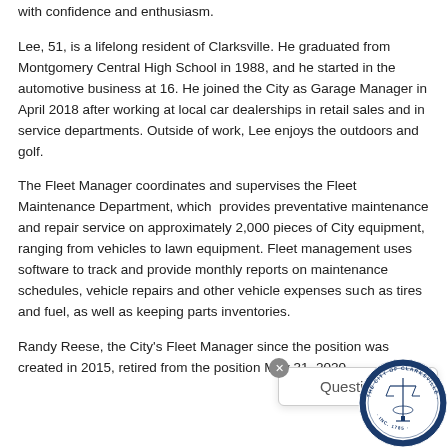with confidence and enthusiasm.
Lee, 51, is a lifelong resident of Clarksville. He graduated from Montgomery Central High School in 1988, and he started in the automotive business at 16. He joined the City as Garage Manager in April 2018 after working at local car dealerships in retail sales and in service departments. Outside of work, Lee enjoys the outdoors and golf.
The Fleet Manager coordinates and supervises the Fleet Maintenance Department, which provides preventative maintenance and repair service on approximately 2,000 pieces of City equipment, ranging from vehicles to lawn equipment. Fleet management uses software to track and provide monthly reports on maintenance schedules, vehicle repairs and other vehicle expenses such as tires and fuel, as well as keeping parts inventories.
Randy Reese, the City's Fleet Manager since the position was created in 2015, retired from the position May 31, 2020.